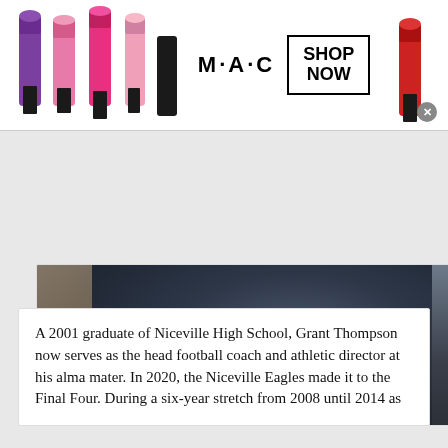[Figure (illustration): MAC Cosmetics advertisement banner with colorful lipsticks on left, MAC logo in center, SHOP NOW box, and red lipstick on right with close button]
[Figure (photo): Person wearing a dark navy/black athletic jacket (Adidas), photographed from behind/side angle, with blurred green plant and brown wall in background]
A 2001 graduate of Niceville High School, Grant Thompson now serves as the head football coach and athletic director at his alma mater. In 2020, the Niceville Eagles made it to the Final Four. During a six-year stretch from 2008 until 2014 as
[Figure (screenshot): Women's Fashion | Shop Online | VENUS advertisement. Shows thumbnail of summer sale promotion. Text: 'Shop the best in women’s fashion, clothing, swimwear' and 'venus.com'. Blue circle chevron arrow on right.]